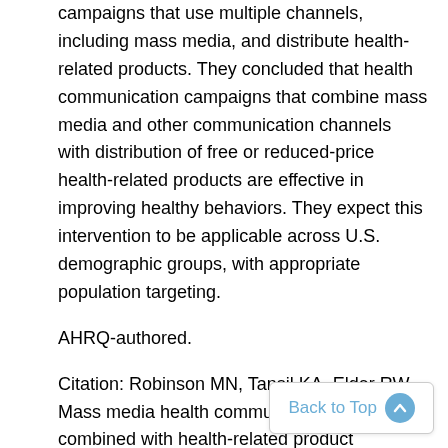campaigns that use multiple channels, including mass media, and distribute health-related products. They concluded that health communication campaigns that combine mass media and other communication channels with distribution of free or reduced-price health-related products are effective in improving healthy behaviors. They expect this intervention to be applicable across U.S. demographic groups, with appropriate population targeting.
AHRQ-authored.
Citation: Robinson MN, Tansil KA, Elder RW . Mass media health communication campaigns combined with health-related product distribution: a community guide systematic review. Am J Prev Med 2014 Sep;47(3):360-71. doi: 10.1016/j.amepre.2014.05.034.